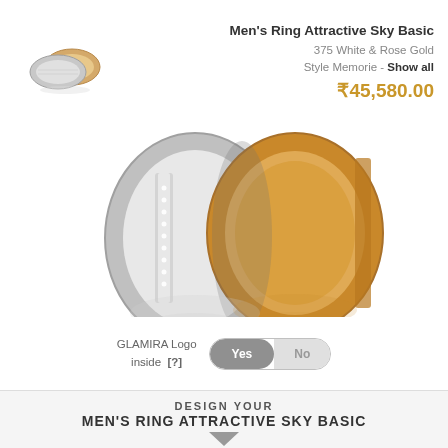[Figure (photo): Small thumbnail of two wedding rings in white and rose gold]
Men's Ring Attractive Sky Basic
375 White & Rose Gold
Style Memorie - Show all
₹45,580.00
[Figure (photo): Large close-up of two overlapping rings in white and rose gold with diamond detailing and reflection]
GLAMIRA Logo inside [?]
Yes / No toggle
DESIGN YOUR
MEN'S RING ATTRACTIVE SKY BASIC